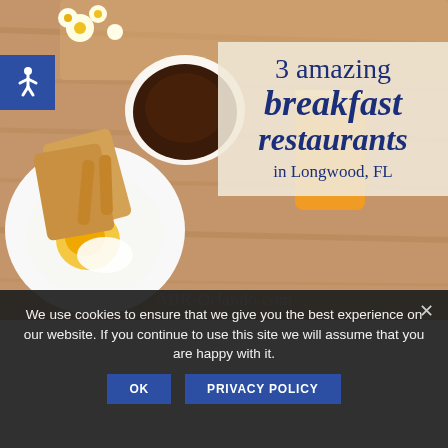[Figure (photo): Breakfast food photo showing fried egg on white plate, toast, chocolate spread in bowl, orange juice glass, and flowers on wooden table background]
3 amazing breakfast restaurants in Longwood, FL
ABR-Orlando.com
We use cookies to ensure that we give you the best experience on our website. If you continue to use this site we will assume that you are happy with it.
OK | PRIVACY POLICY